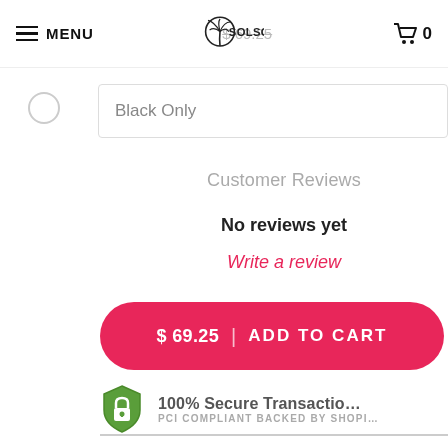MENU | $69.25 | SOLSOL | Cart 0
Black Only
Customer Reviews
No reviews yet
Write a review
$69.25 | ADD TO CART
100% Secure Transaction PCI COMPLIANT BACKED BY SHOPIFY
Poweraid® 1.1W Solar Hat Charge... Solar Hat that Charges... Special N... Currently Available for iPhone 7 or b...